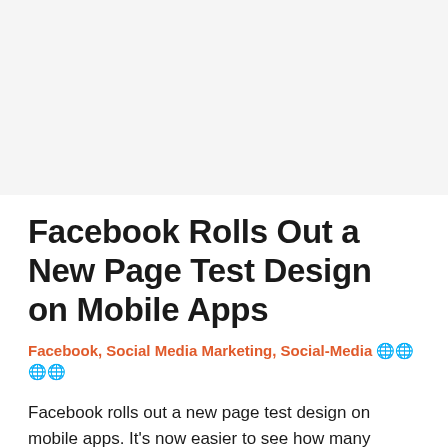[Figure (other): Advertisement or placeholder image area at the top of the page, light gray background]
Facebook Rolls Out a New Page Test Design on Mobile Apps
Facebook, Social Media Marketing, Social-Media 🔗🔗🔗🔗
Facebook rolls out a new page test design on mobile apps. It's now easier to see how many people follow a Facebook Page. A major change in